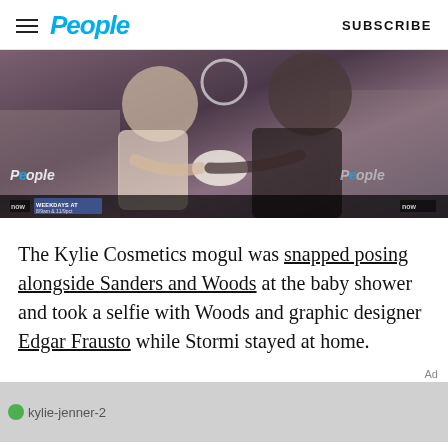People | SUBSCRIBE
[Figure (screenshot): Video screenshot showing two women at a baby shower, one holding a newborn. People TV watermarks visible on left and right. People TV bar at bottom with text 'WEEKDAYS AT 8/9am & 11/9pct'.]
The Kylie Cosmetics mogul was snapped posing alongside Sanders and Woods at the baby shower and took a selfie with Woods and graphic designer Edgar Frausto while Stormi stayed at home.
Ad
[Figure (screenshot): Ad image placeholder showing kylie-jenner-2 text on grey background]